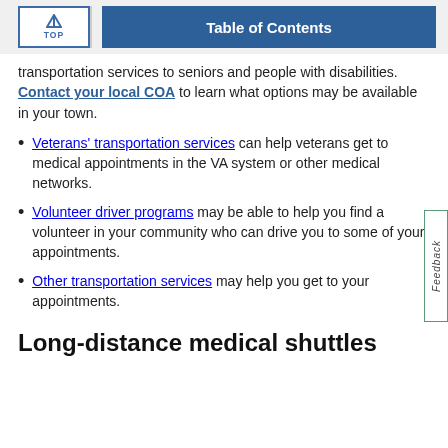TOP | Table of Contents
transportation services to seniors and people with disabilities. Contact your local COA to learn what options may be available in your town.
Veterans' transportation services can help veterans get to medical appointments in the VA system or other medical networks.
Volunteer driver programs may be able to help you find a volunteer in your community who can drive you to some of your appointments.
Other transportation services may help you get to your appointments.
Long-distance medical shuttles